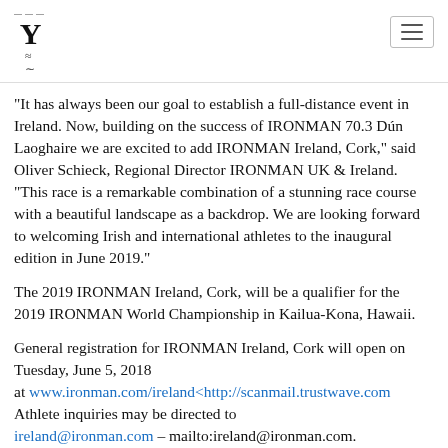Y [IRONMAN logo with waves and dashes]
“It has always been our goal to establish a full-distance event in Ireland. Now, building on the success of IRONMAN 70.3 Dún Laoghaire we are excited to add IRONMAN Ireland, Cork,” said Oliver Schieck, Regional Director IRONMAN UK & Ireland. “This race is a remarkable combination of a stunning race course with a beautiful landscape as a backdrop. We are looking forward to welcoming Irish and international athletes to the inaugural edition in June 2019.”
The 2019 IRONMAN Ireland, Cork, will be a qualifier for the 2019 IRONMAN World Championship in Kailua-Kona, Hawaii.
General registration for IRONMAN Ireland, Cork will open on Tuesday, June 5, 2018 at www.ironman.com/ireland<http://scanmail.trustwave.com Athlete inquiries may be directed to ireland@ironman.com – mailto:ireland@ironman.com.
For more information on the IRONMAN brand and global event series,